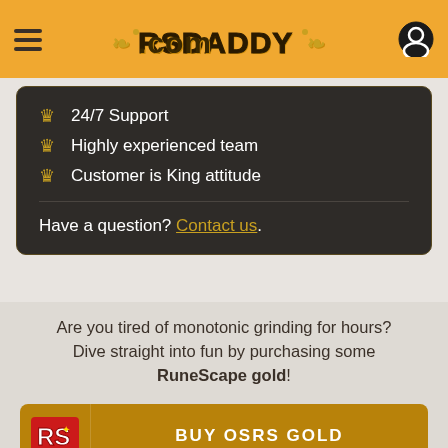[Figure (screenshot): RSDaddy.com website navigation bar with hamburger menu, logo, and user icon on orange background]
24/7 Support
Highly experienced team
Customer is King attitude
Have a question? Contact us.
Are you tired of monotonic grinding for hours? Dive straight into fun by purchasing some RuneScape gold!
BUY OSRS GOLD
BUY RS3 GOLD